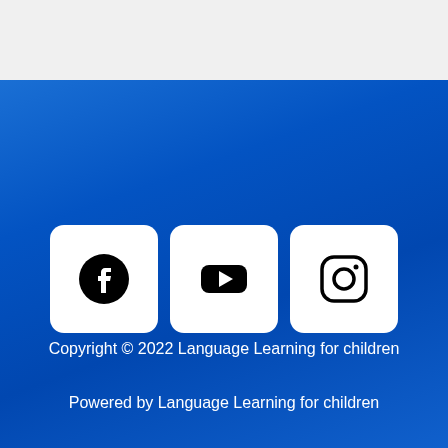[Figure (illustration): Three white rounded-square social media icon buttons for Facebook, YouTube, and Instagram, displayed on a blue gradient background]
Copyright © 2022 Language Learning for children
Powered by Language Learning for children